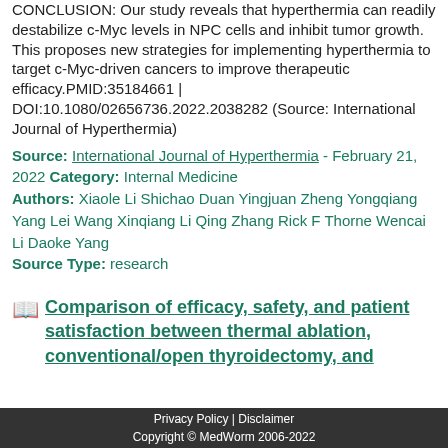CONCLUSION: Our study reveals that hyperthermia can readily destabilize c-Myc levels in NPC cells and inhibit tumor growth. This proposes new strategies for implementing hyperthermia to target c-Myc-driven cancers to improve therapeutic efficacy.PMID:35184661 | DOI:10.1080/02656736.2022.2038282 (Source: International Journal of Hyperthermia)
Source: International Journal of Hyperthermia - February 21, 2022 Category: Internal Medicine
Authors: Xiaole Li Shichao Duan Yingjuan Zheng Yongqiang Yang Lei Wang Xinqiang Li Qing Zhang Rick F Thorne Wencai Li Daoke Yang
Source Type: research
Comparison of efficacy, safety, and patient satisfaction between thermal ablation, conventional/open thyroidectomy, and
Privacy Policy | Disclaimer
Copyright © MedWorm 2006-2022